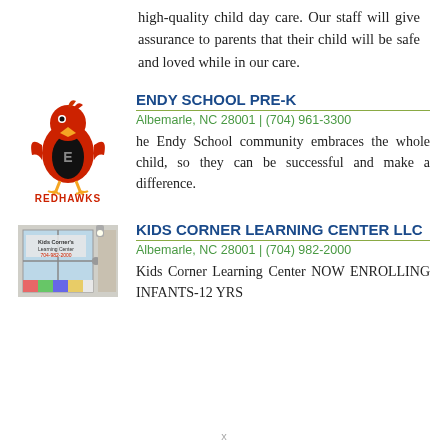high-quality child day care. Our staff will give assurance to parents that their child will be safe and loved while in our care.
[Figure (logo): Redhawks mascot logo - red hawk character with REDHAWKS text below]
ENDY SCHOOL PRE-K
Albemarle, NC 28001 | (704) 961-3300
he Endy School community embraces the whole child, so they can be successful and make a difference.
[Figure (photo): Photo of Kids Corner Learning Center storefront/window]
KIDS CORNER LEARNING CENTER LLC
Albemarle, NC 28001 | (704) 982-2000
Kids Corner Learning Center NOW ENROLLING INFANTS-12 YRS
x